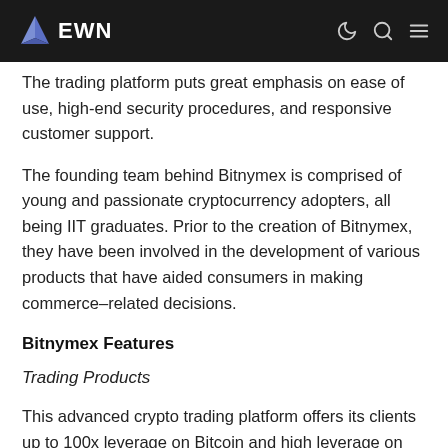EWN
The trading platform puts great emphasis on ease of use, high-end security procedures, and responsive customer support.
The founding team behind Bitnymex is comprised of young and passionate cryptocurrency adopters, all being IIT graduates. Prior to the creation of Bitnymex, they have been involved in the development of various products that have aided consumers in making commerce–related decisions.
Bitnymex Features
Trading Products
This advanced crypto trading platform offers its clients up to 100x leverage on Bitcoin and high leverage on altcoin contracts, and has no expiry dates. The platform also has more Bitcoin/USD liquidity than any other platform — 150% to